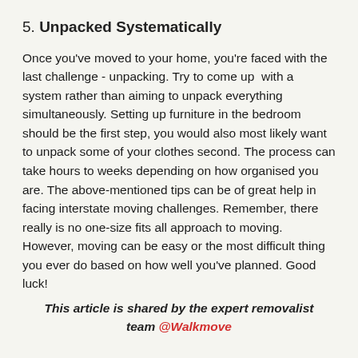5. Unpacked Systematically
Once you've moved to your home, you're faced with the last challenge - unpacking. Try to come up  with a system rather than aiming to unpack everything simultaneously. Setting up furniture in the bedroom should be the first step, you would also most likely want to unpack some of your clothes second. The process can take hours to weeks depending on how organised you are. The above-mentioned tips can be of great help in facing interstate moving challenges. Remember, there really is no one-size fits all approach to moving. However, moving can be easy or the most difficult thing you ever do based on how well you've planned. Good luck!
This article is shared by the expert removalist team @Walkmove